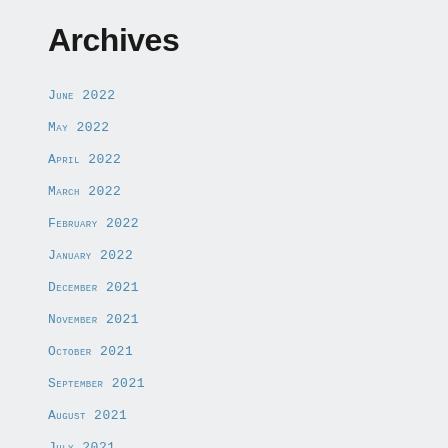Archives
June 2022
May 2022
April 2022
March 2022
February 2022
January 2022
December 2021
November 2021
October 2021
September 2021
August 2021
July 2021
June 2021